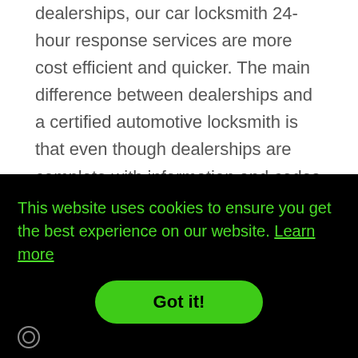dealerships, our car locksmith 24-hour response services are more cost efficient and quicker. The main difference between dealerships and a certified automotive locksmith is that even though dealerships are complete with information and codes they lack the necessary equipment required to cut keys. While professional car locksmiths spend a lots of money on the mandatory decoding
This website uses cookies to ensure you get the best experience on our website. Learn more
Got it!